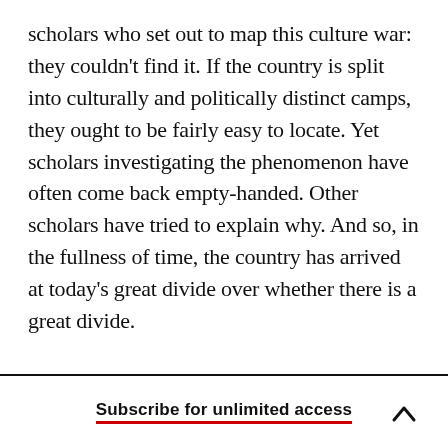scholars who set out to map this culture war: they couldn't find it. If the country is split into culturally and politically distinct camps, they ought to be fairly easy to locate. Yet scholars investigating the phenomenon have often come back empty-handed. Other scholars have tried to explain why. And so, in the fullness of time, the country has arrived at today's great divide over whether there is a great divide.
Subscribe for unlimited access